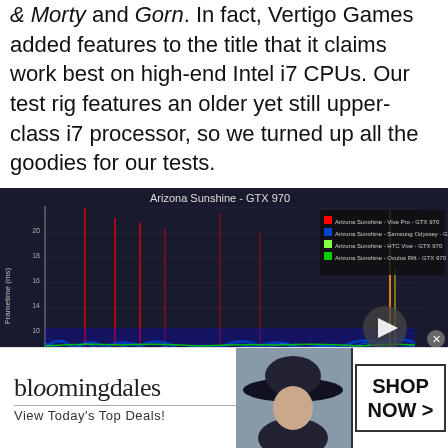& Morty and Gorn. In fact, Vertigo Games added features to the title that it claims work best on high-end Intel i7 CPUs. Our test rig features an older yet still upper-class i7 processor, so we turned up all the goodies for our tests.
[Figure (continuous-plot): Line chart showing frametime (ms) vs time (s) for Arizona Sunshine on GTX 970, with four series: Arizona Sunshine - Vive Pro - GTX 970 (red), Arizona Sunshine - Samsung Odyssey - GTX 970 (blue/dark blue), Arizona Sunshine - HTC Vive - GTX 970 (light green), Arizona Sunshine - Oculus Rift - GTX 970 (green). Multiple colored spikes visible throughout the time axis. A play button overlay is present on the right side.]
[Figure (infographic): Bloomingdales advertisement banner. Shows 'bloomingdales' logo with tagline 'View Today's Top Deals!' on the left, a woman wearing a large hat in the center, and a 'SHOP NOW >' button on the right.]